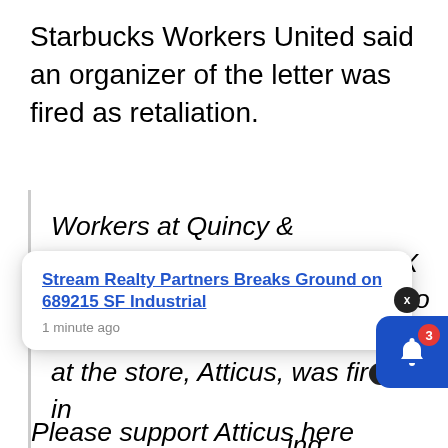Starbucks Workers United said an organizer of the letter was fired as retaliation.
Workers at Quincy & McCullough in San Antonio, TX are announcing their intention to organize after one of the leaders at the store, Atticus, was fired in [something]. Please support Atticus here
[Figure (screenshot): Notification popup overlay: 'Stream Realty Partners Breaks Ground on 689215 SF Industrial' with timestamp '1 minute ago', with an X close button. Also a blue bell icon button with red badge showing '3'.]